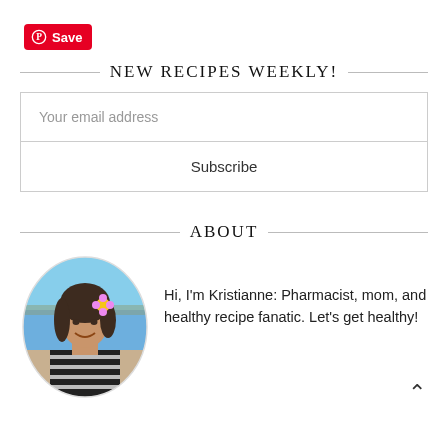[Figure (screenshot): Pinterest Save button with red background]
NEW RECIPES WEEKLY!
Your email address
Subscribe
ABOUT
[Figure (photo): Circular profile photo of Kristianne at the beach wearing a striped top with a flower in her hair]
Hi, I'm Kristianne: Pharmacist, mom, and healthy recipe fanatic. Let's get healthy!